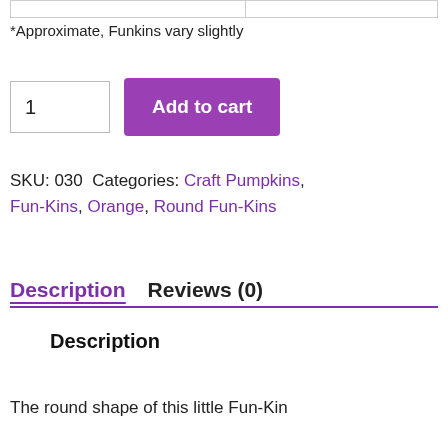|  |  |
| --- | --- |
|   |   |
*Approximate, Funkins vary slightly
1   Add to cart
SKU: 030 Categories: Craft Pumpkins, Fun-Kins, Orange, Round Fun-Kins
Description   Reviews (0)
Description
The round shape of this little Fun-Kin